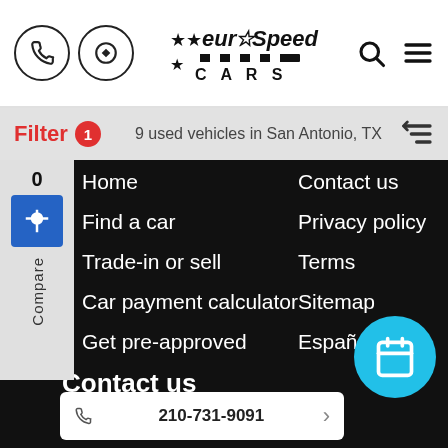[Figure (logo): EuroSpeed Cars logo with stars]
Filter 1   9 used vehicles in San Antonio, TX
Home
Find a car
Trade-in or sell
Car payment calculator
Get pre-approved
Contact us
Privacy policy
Terms
Sitemap
Español
Contact us
210-731-9091